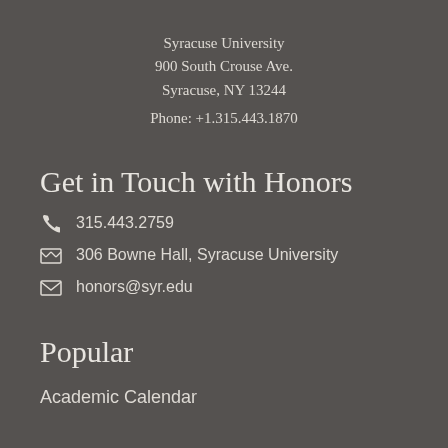Syracuse University
900 South Crouse Ave.
Syracuse, NY 13244
Phone: +1.315.443.1870
Get in Touch with Honors
315.443.2759
306 Bowne Hall, Syracuse University
honors@syr.edu
Popular
Academic Calendar